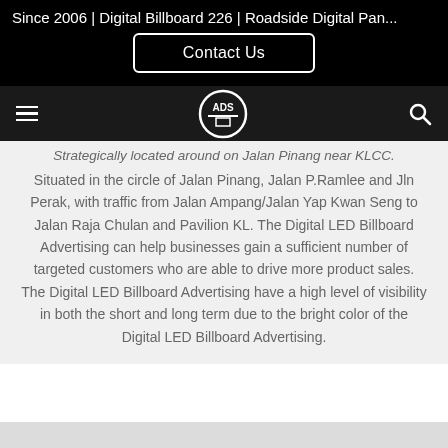Since 2006 | Digital Billboard 226 | Roadside Digital Pan...
Contact Us
[Figure (logo): ADS logo in a circle with navigation bar including hamburger menu and search icon]
Strategically located around on Jalan Pinang near KLCC. Situated in the circle of Jalan Pinang, Jalan P.Ramlee and Jln Perak, with traffic from Jalan Ampang/Jalan Yap Kwan Seng to Jalan Raja Chulan and Pavilion KL. The Digital LED Billboard Advertising can help businesses gain a sufficient number of targeted customers who are able to drive more product sales. The Digital LED Billboard Advertising have a high level of visibility in both the short and long term due to the bright color of the Digital LED Billboard Advertising.